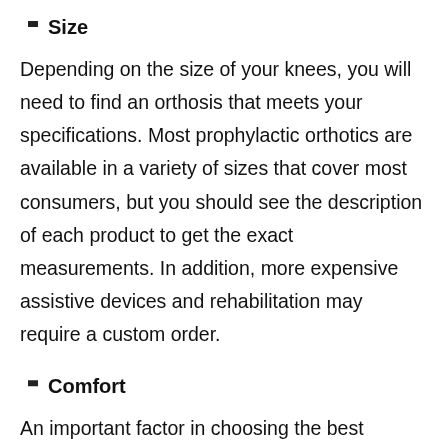Size
Depending on the size of your knees, you will need to find an orthosis that meets your specifications. Most prophylactic orthotics are available in a variety of sizes that cover most consumers, but you should see the description of each product to get the exact measurements. In addition, more expensive assistive devices and rehabilitation may require a custom order.
Comfort
An important factor in choosing the best athletic knee brace is comfort! Since the best athletic knee